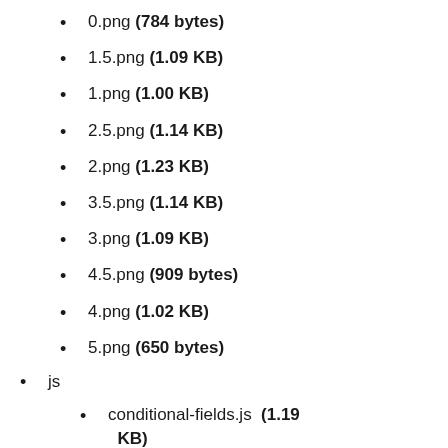0.png (784 bytes)
1.5.png (1.09 KB)
1.png (1.00 KB)
2.5.png (1.14 KB)
2.png (1.23 KB)
3.5.png (1.14 KB)
3.png (1.09 KB)
4.5.png (909 bytes)
4.png (1.02 KB)
5.png (650 bytes)
js
conditional-fields.js (1.19 KB)